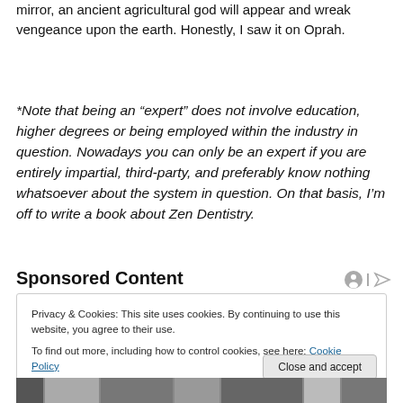mirror, an ancient agricultural god will appear and wreak vengeance upon the earth. Honestly, I saw it on Oprah.
*Note that being an “expert” does not involve education, higher degrees or being employed within the industry in question. Nowadays you can only be an expert if you are entirely impartial, third-party, and preferably know nothing whatsoever about the system in question. On that basis, I’m off to write a book about Zen Dentistry.
Sponsored Content
Privacy & Cookies: This site uses cookies. By continuing to use this website, you agree to their use.
To find out more, including how to control cookies, see here: Cookie Policy
[Figure (photo): Bottom strip showing a partial photo of people]